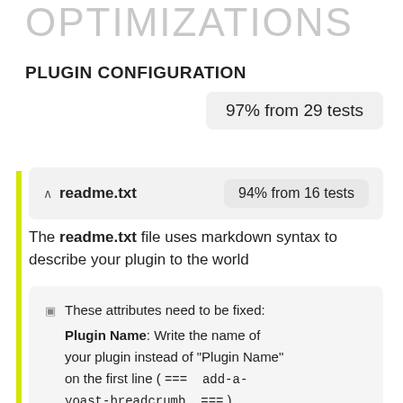OPTIMIZATIONS
PLUGIN CONFIGURATION
97% from 29 tests
^ readme.txt   94% from 16 tests
The readme.txt file uses markdown syntax to describe your plugin to the world
These attributes need to be fixed: Plugin Name: Write the name of your plugin instead of "Plugin Name" on the first line ( ===  add-a-yoast-breadcrumb  ===)